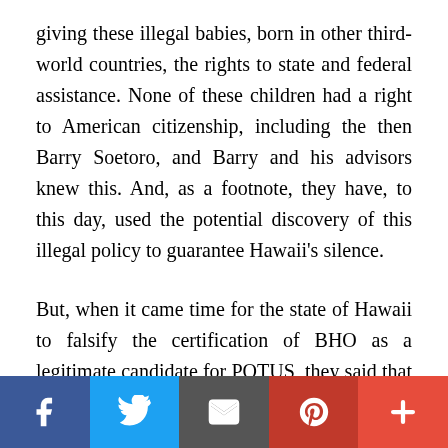giving these illegal babies, born in other third-world countries, the rights to state and federal assistance. None of these children had a right to American citizenship, including the then Barry Soetoro, and Barry and his advisors knew this. And, as a footnote, they have, to this day, used the potential discovery of this illegal policy to guarantee Hawaii's silence.
But, when it came time for the state of Hawaii to falsify the certification of BHO as a legitimate candidate for POTUS, they said that was a bridge too far and refused. The opportunistic mind of Nancy Pelosi now had a choice to make: either she fraudulently certify BHO to be eligible or face the wrath of the DNC and the
[Figure (infographic): Social media sharing bar with five buttons: Facebook (blue), Twitter (light blue), Email (dark gray), Pinterest (dark red), Plus/More (red)]